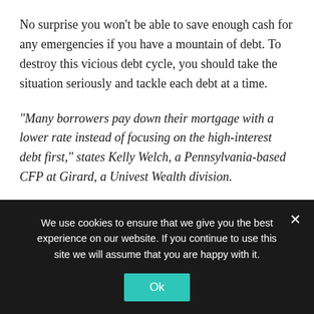No surprise you won't be able to save enough cash for any emergencies if you have a mountain of debt. To destroy this vicious debt cycle, you should take the situation seriously and tackle each debt at a time.
“Many borrowers pay down their mortgage with a lower rate instead of focusing on the high-interest debt first,” states Kelly Welch, a Pennsylvania-based CFP at Girard, a Univest Wealth division.
You should start with the debt that has the highest interest and tackle it first. Once you repay the whole sum, you will
We use cookies to ensure that we give you the best experience on our website. If you continue to use this site we will assume that you are happy with it.